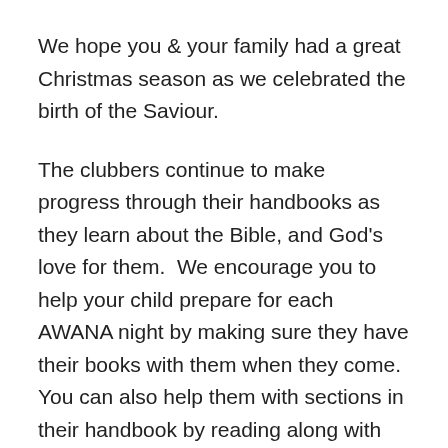We hope you & your family had a great Christmas season as we celebrated the birth of the Saviour.
The clubbers continue to make progress through their handbooks as they learn about the Bible, and God's love for them.  We encourage you to help your child prepare for each AWANA night by making sure they have their books with them when they come.  You can also help them with sections in their handbook by reading along with them.
Reminders: